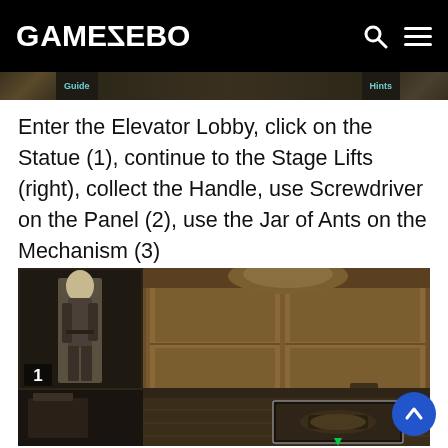GAMEZEBO
[Figure (screenshot): Navigation strip from Gamezebo website showing guide label and hints label on a dark decorative background]
Enter the Elevator Lobby, click on the Statue (1), continue to the Stage Lifts (right), collect the Handle, use Screwdriver on the Panel (2), use the Jar of Ants on the Mechanism (3)
[Figure (screenshot): Game screenshot showing an Elevator Lobby scene with a statue figure labeled 1 on the left, large wooden doors in the center, number 3 in the lower right area, and a close-up inset thumbnail at the bottom right. A blue scroll-to-top button is overlaid at bottom right.]